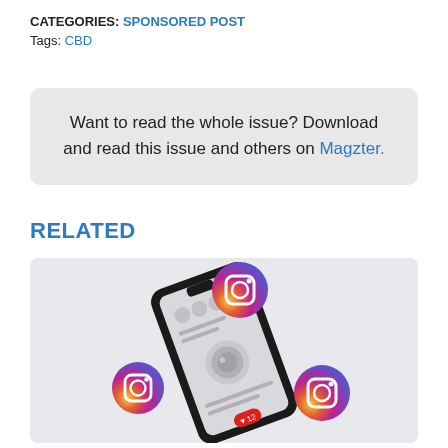CATEGORIES: SPONSORED POST
Tags: CBD
Want to read the whole issue? Download and read this issue and others on Magzter.
RELATED
[Figure (illustration): 3D rendered smartphone showing Instagram app interface with three floating Instagram logo icons around it, on a light gray background.]